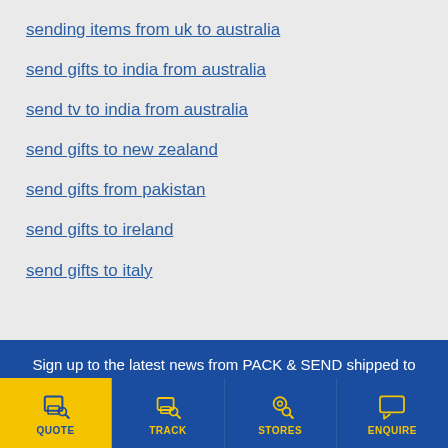sending items from uk to australia
send gifts to india from australia
send tv to india from australia
send gifts to new zealand
send gifts from pakistan
send gifts to ireland
send gifts to italy
Sign up to the latest news from PACK & SEND shipped to your inbox.
QUOTE | TRACK | STORES | ENQUIRE